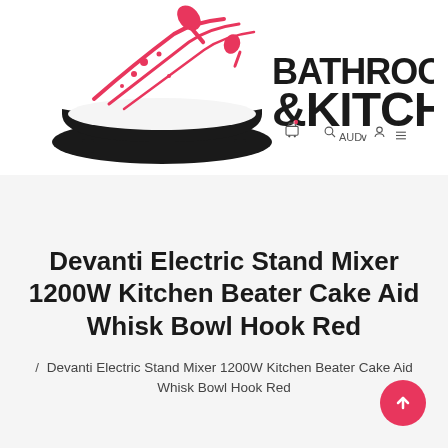[Figure (logo): Bathroom & Kitchen store logo with bathtub illustration, mixer/whisk splash graphic in red and black, with cart and navigation icons overlay]
Devanti Electric Stand Mixer 1200W Kitchen Beater Cake Aid Whisk Bowl Hook Red
/ Devanti Electric Stand Mixer 1200W Kitchen Beater Cake Aid Whisk Bowl Hook Red